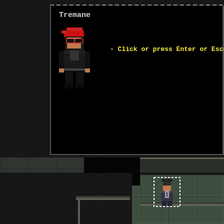[Figure (screenshot): A pixel-art RPG/roguelike game screenshot showing a dungeon tilemap with characters. In the upper portion, a dialog box is open showing a character named 'Tremane' (a dark-clad figure with a red cap) with yellow text reading '- Click or press Enter or Escape to'. The game world shows dark stone floor tiles arranged in a dungeon layout. Visible characters include: a brown bear/monster and a ghost/skull enemy with a blue projectile on the left, a female hero character (red hair, selected with green box) in the center, green slime creatures and a blue globe creature on the right. In the lower portion, another section of the dungeon shows a different character (hat and coat) selected with a white dashed box on lighter stone tiles, and a small gold star item visible at the bottom.]